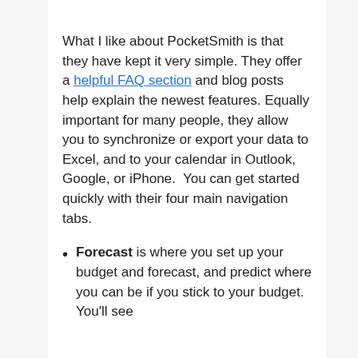What I like about PocketSmith is that they have kept it very simple. They offer a helpful FAQ section and blog posts help explain the newest features. Equally important for many people, they allow you to synchronize or export your data to Excel, and to your calendar in Outlook, Google, or iPhone.  You can get started quickly with their four main navigation tabs.
Forecast is where you set up your budget and forecast, and predict where you can be if you stick to your budget.  You'll see